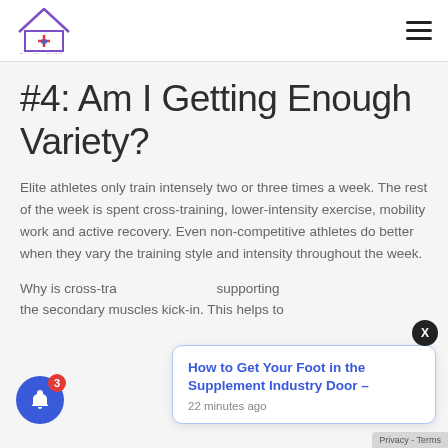[Figure (logo): House-shaped medical logo with a cross and heart, purple/blue outline]
Navigation header with logo and hamburger menu
#4: Am I Getting Enough Variety?
Elite athletes only train intensely two or three times a week. The rest of the week is spent cross-training, lower-intensity exercise, mobility work and active recovery. Even non-competitive athletes do better when they vary the training style and intensity throughout the week.
Why is cross-tra... supporting... the secondary muscles kick-in. This helps to prevent natural pressure on a joint. Second, cross-...
[Figure (other): Popup notification card: 'How to Get Your Foot in the Supplement Industry Door – 22 minutes ago']
[Figure (other): Blue notification bell icon with red badge showing 3]
Privacy - Terms